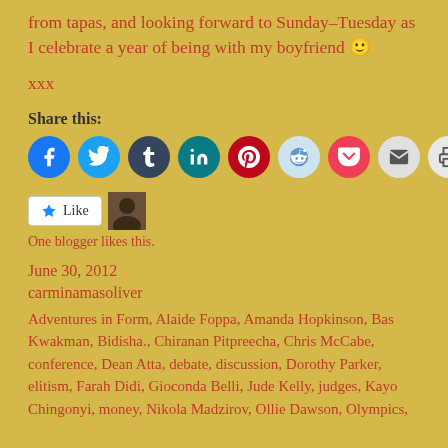from tapas, and looking forward to Sunday–Tuesday as I celebrate a year of being with my boyfriend 🙂
xxx
Share this:
[Figure (infographic): Row of social media share icon circles: Facebook (blue), Twitter (blue), Tumblr (dark grey), LinkedIn (teal), Pinterest (crimson), Reddit (light blue), Pocket (crimson), Email (light grey), Print (light grey)]
[Figure (infographic): Like button with star icon and a blogger avatar thumbnail. Text: One blogger likes this.]
One blogger likes this.
June 30, 2012
carminamasoliver
Adventures in Form, Alaide Foppa, Amanda Hopkinson, Bas Kwakman, Bidisha., Chiranan Pitpreecha, Chris McCabe, conference, Dean Atta, debate, discussion, Dorothy Parker, elitism, Farah Didi, Gioconda Belli, Jude Kelly, judges, Kayo Chingonyi, money, Nikola Madzirov, Ollie Dawson, Olympics,